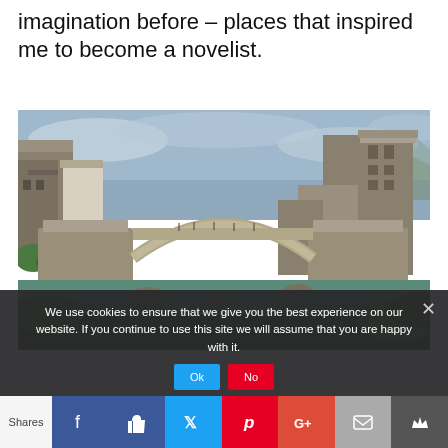imagination before – places that inspired me to become a novelist.
[Figure (photo): Photograph of Stari Most (Old Bridge) in Mostar, Bosnia and Herzegovina. A historic stone arch bridge spans a green river. Stone medieval towers and buildings visible on both sides. Overcast sky. Lush green trees along the riverbanks.]
We use cookies to ensure that we give you the best experience on our website. If you continue to use this site we will assume that you are happy with it.
Shares [Facebook] [Like] [Twitter] [Pinterest] [Google+] [Mail] [Crown]